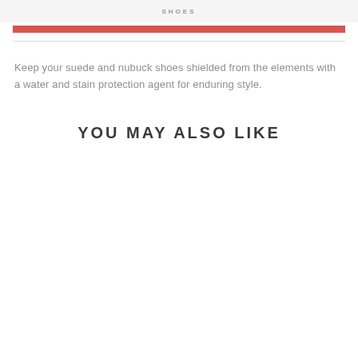SHOES
Keep your suede and nubuck shoes shielded from the elements with a water and stain protection agent for enduring style.
YOU MAY ALSO LIKE